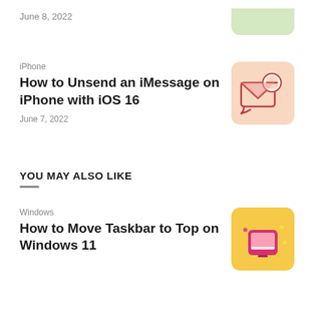June 8, 2022
iPhone
How to Unsend an iMessage on iPhone with iOS 16
June 7, 2022
[Figure (illustration): Peach/salmon colored square icon with an envelope and a red cancel/no-entry circle symbol]
YOU MAY ALSO LIKE
Windows
How to Move Taskbar to Top on Windows 11
[Figure (illustration): Yellow/golden square icon with a pink/magenta monitor or tablet icon]